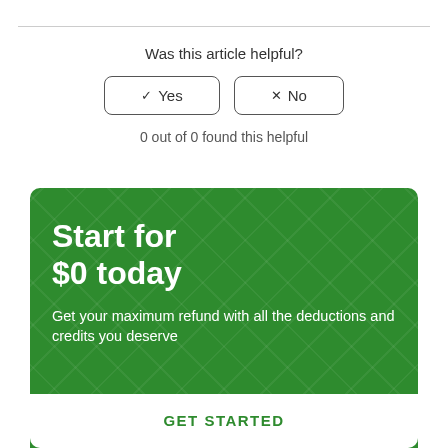Was this article helpful?
✓ Yes  ✕ No
0 out of 0 found this helpful
Start for $0 today
Get your maximum refund with all the deductions and credits you deserve
GET STARTED